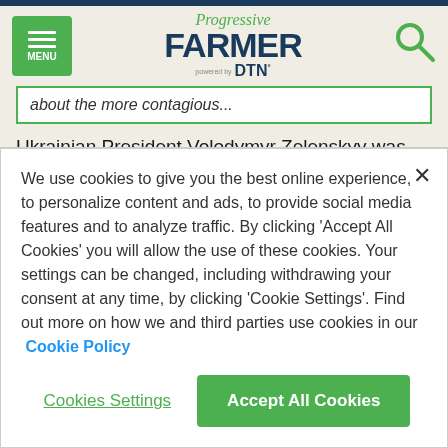Progressive FARMER powered by DTN
about the more contagious...
Ukrainian President Volodymyr Zelenskyy was set to make a much anticipated online speech in Japan's parliament. Japan, which has abided by a pacifist constitution after its defeat in World War II, has taken an unusually vocal position on the war in Ukraine.
We use cookies to give you the best online experience, to personalize content and ads, to provide social media features and to analyze traffic. By clicking 'Accept All Cookies' you will allow the use of these cookies. Your settings can be changed, including withdrawing your consent at any time, by clicking 'Cookie Settings'. Find out more on how we and third parties use cookies in our Cookie Policy